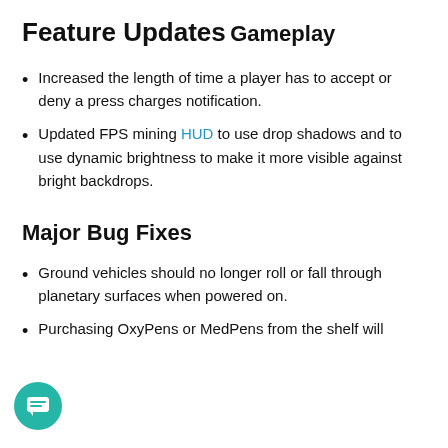Feature Updates
Gameplay
Increased the length of time a player has to accept or deny a press charges notification.
Updated FPS mining HUD to use drop shadows and to use dynamic brightness to make it more visible against bright backdrops.
Major Bug Fixes
Ground vehicles should no longer roll or fall through planetary surfaces when powered on.
Purchasing OxyPens or MedPens from the shelf will